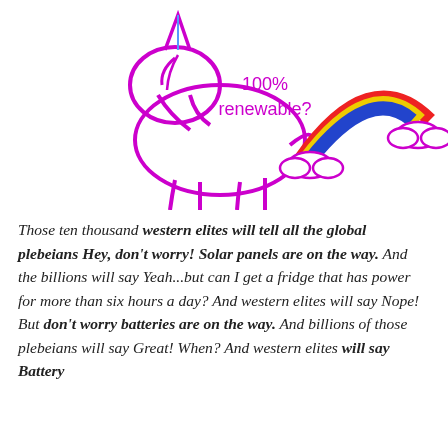[Figure (illustration): A cartoon purple outline unicorn/pony figure with text '100% renewable?' in pink/magenta, and a rainbow (red, yellow, blue stripes) with white clouds on the right side.]
Those ten thousand western elites will tell all the global plebeians Hey, don't worry! Solar panels are on the way. And the billions will say Yeah...but can I get a fridge that has power for more than six hours a day? And western elites will say Nope! But don't worry batteries are on the way. And billions of those plebeians will say Great! When? And western elites will say Battery